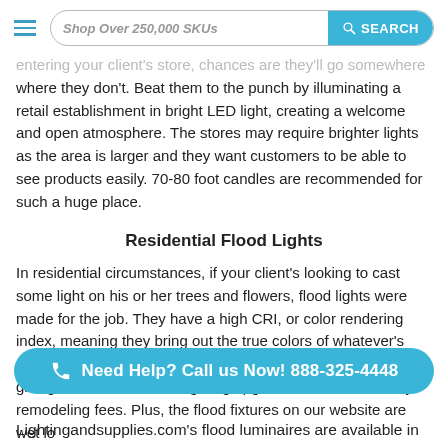Shop Over 250,000 SKUs | SEARCH
entering your client's store, chances are they'll go somewhere where they don't. Beat them to the punch by illuminating a retail establishment in bright LED light, creating a welcome and open atmosphere. The stores may require brighter lights as the area is larger and they want customers to be able to see products easily. 70-80 foot candles are recommended for such a huge place.
Residential Flood Lights
In residential circumstances, if your client's looking to cast some light on his or her trees and flowers, flood lights were made for the job. They have a high CRI, or color rendering index, meaning they bring out the true colors of whatever's underneath them, making everything look its best. It's like giving a home an instant lighting upgrade, without the costly remodeling fees. Plus, the flood fixtures on our website are wet lo... sprin... Lightingandsupplies.com's flood luminaires are available in
Need Help? Call us Now! 888-325-4448
Lightingandsupplies.com's flood luminaires are available in